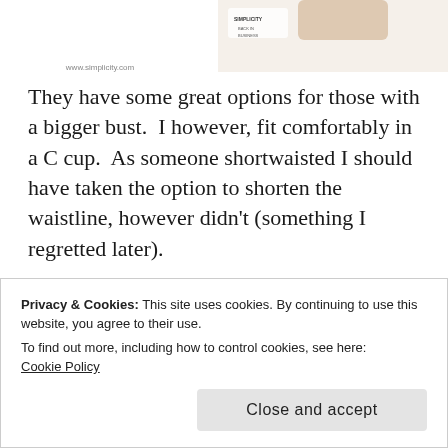[Figure (photo): Top portion of a sewing/crafting page showing a website image with 'www.simplicity.com' watermark and a partial photo of hands/fabric on the right.]
They have some great options for those with a bigger bust.  I however, fit comfortably in a C cup.  As someone shortwaisted I should have taken the option to shorten the waistline, however didn't (something I regretted later).
[Figure (photo): Partial image of blue/purple fabric with a tan/beige element, likely a sewing pattern or fabric project photo.]
Privacy & Cookies: This site uses cookies. By continuing to use this website, you agree to their use.
To find out more, including how to control cookies, see here:
Cookie Policy
Close and accept